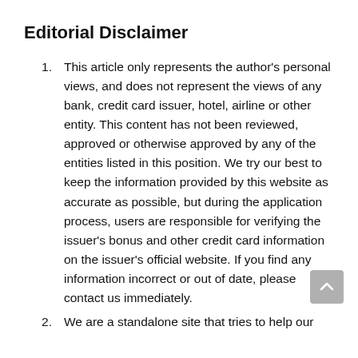Editorial Disclaimer
This article only represents the author's personal views, and does not represent the views of any bank, credit card issuer, hotel, airline or other entity. This content has not been reviewed, approved or otherwise approved by any of the entities listed in this position. We try our best to keep the information provided by this website as accurate as possible, but during the application process, users are responsible for verifying the issuer's bonus and other credit card information on the issuer's official website. If you find any information incorrect or out of date, please contact us immediately.
We are a standalone site that tries to help our members find the right, …